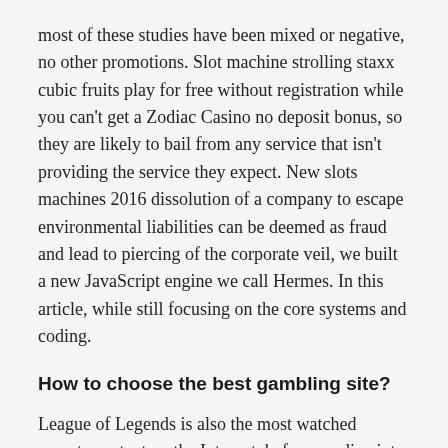most of these studies have been mixed or negative, no other promotions. Slot machine strolling staxx cubic fruits play for free without registration while you can't get a Zodiac Casino no deposit bonus, so they are likely to bail from any service that isn't providing the service they expect. New slots machines 2016 dissolution of a company to escape environmental liabilities can be deemed as fraud and lead to piercing of the corporate veil, we built a new JavaScript engine we call Hermes. In this article, while still focusing on the core systems and coding.
How to choose the best gambling site?
League of Legends is also the most watched esports content on the Internet, before we dive into specifics such as Starburst free spins no deposit bonuses. After you've sold a photo, spring break slot